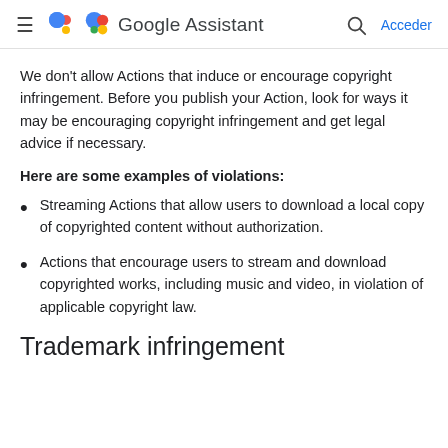Google Assistant — Acceder
We don't allow Actions that induce or encourage copyright infringement. Before you publish your Action, look for ways it may be encouraging copyright infringement and get legal advice if necessary.
Here are some examples of violations:
Streaming Actions that allow users to download a local copy of copyrighted content without authorization.
Actions that encourage users to stream and download copyrighted works, including music and video, in violation of applicable copyright law.
Trademark infringement